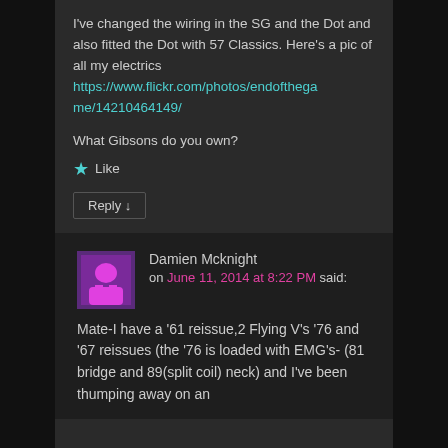I've changed the wiring in the SG and the Dot and also fitted the Dot with 57 Classics. Here's a pic of all my electrics https://www.flickr.com/photos/endofthegame/14210464149/
What Gibsons do you own?
★ Like
Reply ↓
Damien Mcknight on June 11, 2014 at 8:22 PM said:
Mate-I have a '61 reissue,2 Flying V's '76 and '67 reissues (the '76 is loaded with EMG's- (81 bridge and 89(split coil) neck) and I've been thumping away on an